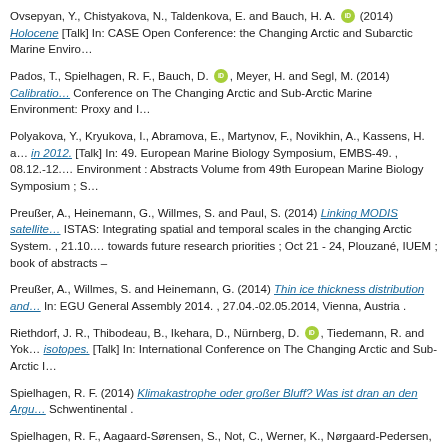Ovsepyan, Y., Chistyakova, N., Taldenkova, E. and Bauch, H. A. [ORCID] (2014) Holocene... [Talk] In: CASE Open Conference: the Changing Arctic and Subarctic Marine Enviro...
Pados, T., Spielhagen, R. F., Bauch, D. [ORCID], Meyer, H. and Segl, M. (2014) Calibratio... Conference on The Changing Arctic and Sub-Arctic Marine Environment: Proxy and I...
Polyakova, Y., Kryukova, I., Abramova, E., Martynov, F., Novikhin, A., Kassens, H. a... in 2012. [Talk] In: 49. European Marine Biology Symposium, EMBS-49. , 08.12.-12.... Environment : Abstracts Volume from 49th European Marine Biology Symposium ; S...
Preußer, A., Heinemann, G., Willmes, S. and Paul, S. (2014) Linking MODIS satellite... ISTAS: Integrating spatial and temporal scales in the changing Arctic System. , 21.10.... towards future research priorities ; Oct 21 - 24, Plouzané, IUEM ; book of abstracts –
Preußer, A., Willmes, S. and Heinemann, G. (2014) Thin ice thickness distribution and... In: EGU General Assembly 2014. , 27.04.-02.05.2014, Vienna, Austria .
Riethdorf, J. R., Thibodeau, B., Ikehara, D., Nürnberg, D. [ORCID], Tiedemann, R. and Yok... isotopes. [Talk] In: International Conference on The Changing Arctic and Sub-Arctic I...
Spielhagen, R. F. (2014) Klimakastrophe oder großer Bluff? Was ist dran an den Argu... Schwentinental .
Spielhagen, R. F., Aagaard-Sørensen, S., Not, C., Werner, K., Nørgaard-Pedersen, N. a... Conference on The Changing Arctic and Sub-Arctic Marine Environment: Proxy and I...
Spielhagen, R. F., Bauch, H. A. [ORCID], Not, C., Telesiński, M. M. and Werner, K. (2014)... In: EGU General Assembly 2014. , 27.04.-02.05.2014, Vienna, Austria .
Spielhagen, R. F., Nørgaard-Pedersen, N. and Telesinski, M. (2014) Arctic Ocean mel...